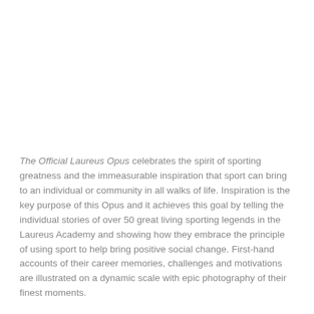The Official Laureus Opus celebrates the spirit of sporting greatness and the immeasurable inspiration that sport can bring to an individual or community in all walks of life. Inspiration is the key purpose of this Opus and it achieves this goal by telling the individual stories of over 50 great living sporting legends in the Laureus Academy and showing how they embrace the principle of using sport to help bring positive social change. First-hand accounts of their career memories, challenges and motivations are illustrated on a dynamic scale with epic photography of their finest moments.